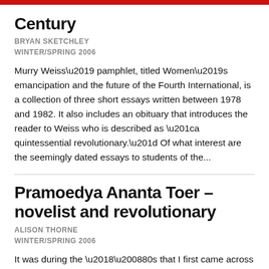Century
BRYAN SKETCHLEY
WINTER/SPRING 2006
Murry Weiss’ pamphlet, titled Women’s emancipation and the future of the Fourth International, is a collection of three short essays written between 1978 and 1982. It also includes an obituary that introduces the reader to Weiss who is described as “a quintessential revolutionary.” Of what interest are the seemingly dated essays to students of the...
Pramoedya Ananta Toer – novelist and revolutionary
ALISON THORNE
WINTER/SPRING 2006
It was during the ‘80s that I first came across legendary Indonesian writer and activist, Pramoedya Ananta Toer...